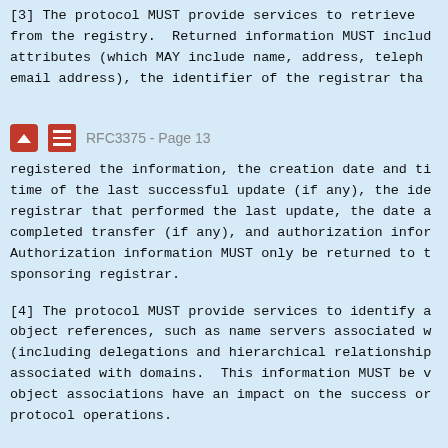[3] The protocol MUST provide services to retrieve from the registry. Returned information MUST include attributes (which MAY include name, address, telephone email address), the identifier of the registrar that
RFC3375 - Page 13
registered the information, the creation date and time of the last successful update (if any), the identifier of the registrar that performed the last update, the date and time of the last completed transfer (if any), and authorization information. Authorization information MUST only be returned to the sponsoring registrar.
[4] The protocol MUST provide services to identify all object references, such as name servers associated with a domain (including delegations and hierarchical relationships associated with domains. This information MUST be visible since object associations have an impact on the success or failure of protocol operations.